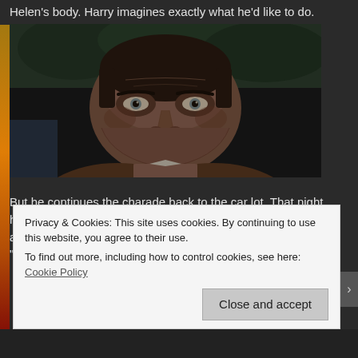Helen's body. Harry imagines exactly what he'd like to do.
[Figure (photo): Close-up of a man's face, dark background, appears to be a movie still.]
But he continues the charade back to the car lot. That night, he has Gib and more of his Omega guys tracking both Simon and Helen. She meets him and they both drive off in his car. "It's probably best that you're not seen with me". He guides
Privacy & Cookies: This site uses cookies. By continuing to use this website, you agree to their use.
To find out more, including how to control cookies, see here: Cookie Policy
Close and accept